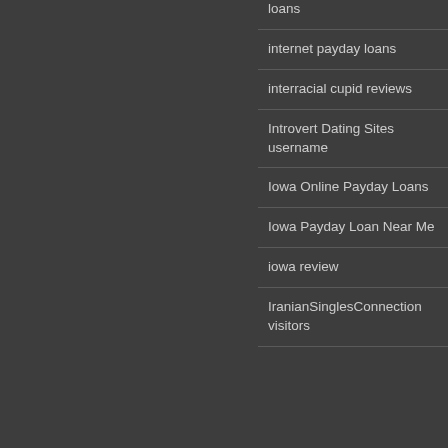loans
internet payday loans
interracial cupid reviews
Introvert Dating Sites username
Iowa Online Payday Loans
Iowa Payday Loan Near Me
iowa review
IranianSinglesConnection visitors